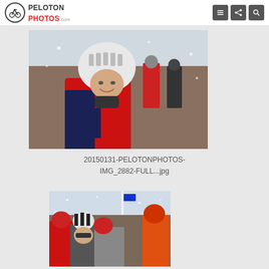PELOTONPHOTOS.com
[Figure (photo): Cyclist wearing a white helmet and USA team jersey (red and navy) smiling, at a cyclocross event in winter/snowy conditions, with other cyclists and spectators in background]
20150131-PELOTONPHOTOS-IMG_2882-FULL...jpg
[Figure (photo): Group of cyclists in helmets and cold weather gear at a winter cyclocross event, with snow falling, orange and blue colors visible in the crowd]